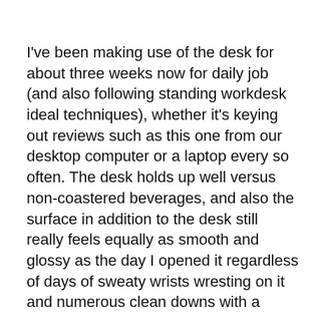I've been making use of the desk for about three weeks now for daily job (and also following standing workdesk ideal techniques), whether it's keying out reviews such as this one from our desktop computer or a laptop every so often. The desk holds up well versus non-coastered beverages, and also the surface in addition to the desk still really feels equally as smooth and glossy as the day I opened it regardless of days of sweaty wrists wresting on it and numerous clean downs with a dustcloth.
I never intentionally attempt to damage any kind of desks also hard, throughout some lighter examinations (throwing a set of tricks onto it from a range, for example), it still